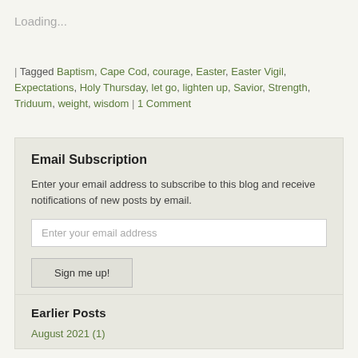Loading...
| Tagged Baptism, Cape Cod, courage, Easter, Easter Vigil, Expectations, Holy Thursday, let go, lighten up, Savior, Strength, Triduum, weight, wisdom | 1 Comment
Email Subscription
Enter your email address to subscribe to this blog and receive notifications of new posts by email.
Enter your email address
Sign me up!
Join 894 other followers
Earlier Posts
August 2021 (1)